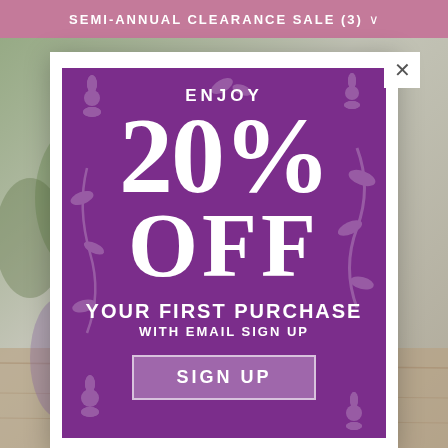SEMI-ANNUAL CLEARANCE SALE (3) ▾
[Figure (screenshot): Background page with product photo (figurines on wood surface with greenery), greyed out behind modal overlay. Price $8.99 visible at top.]
[Figure (infographic): Purple promotional modal with floral/botanical decorative pattern background. White text reads: ENJOY / 20% / OFF / YOUR FIRST PURCHASE / WITH EMAIL SIGN UP. Button: SIGN UP. White close X button in top-right corner of modal card.]